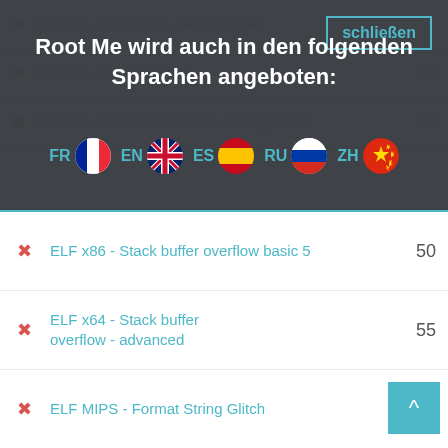ELF x86 - Bug Hunting - Several Issues
ELF x86 - Integer Overflow
ELF x86 - Stack buffer overflow - ret2dl_resolve
Root Me wird auch in den folgenden Sprachen angeboten:
[Figure (infographic): Language options: FR (French flag), EN (UK flag), ES (Spanish flag), RU (Russian flag), ZH (Chinese flag)]
ELF x86 - Stack buffer overflow basic 5
ELF x64 - Stack buffer overflow - advanced
ELF MIPS - Format String Glitch
ELF x64 - Heap Filling
ELF x86 - Information leakage with Stack Smashing Protector